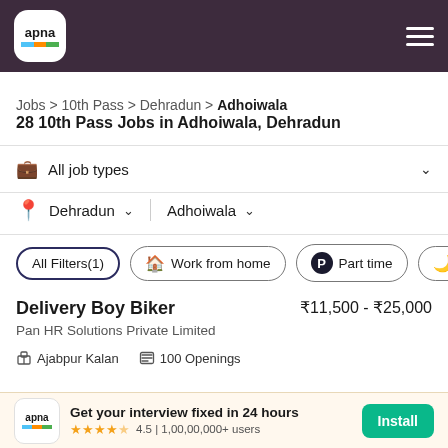apna [logo] [hamburger menu]
Jobs > 10th Pass > Dehradun > Adhoiwala
28 10th Pass Jobs in Adhoiwala, Dehradun
All job types [filter dropdown]
Dehradun [dropdown] | Adhoiwala [dropdown]
All Filters(1)
Work from home
Part time
Night
Delivery Boy Biker
Pan HR Solutions Private Limited
₹11,500 - ₹25,000
Ajabpur Kalan   100 Openings
Get your interview fixed in 24 hours
4.5 | 1,00,00,000+ users
Install